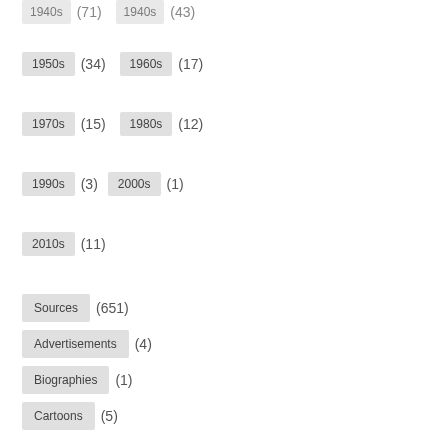1950s (34)
1960s (17)
1970s (15)
1980s (12)
1990s (3)
2000s (1)
2010s (11)
Sources (651)
Advertisements (4)
Biographies (1)
Cartoons (5)
Chocolate cards (1)
Compilations (12)
Contributions (2)